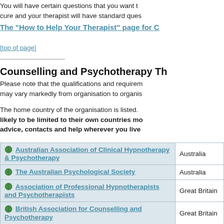You will have certain questions that you want to cure and your therapist will have standard ques...
The "How to Help Your Therapist" page for C...
[top of page]
Counselling and Psychotherapy Th...
Please note that the qualifications and requirem... may vary markedly from organisation to organis...
The home country of the organisation is listed. likely to be limited to their own countries mo... advice, contacts and help wherever you live...
| Organisation | Country |
| --- | --- |
| Australian Association of Clinical Hypnotherapy & Psychotherapy | Australia |
| The Australian Psychological Society | Australia |
| Association of Professional Hypnotherapists and Psychotherapists | Great Britain |
| British Association for Counselling and Psychotherapy | Great Britain |
| British Psychoanalytic Council | Great Britain |